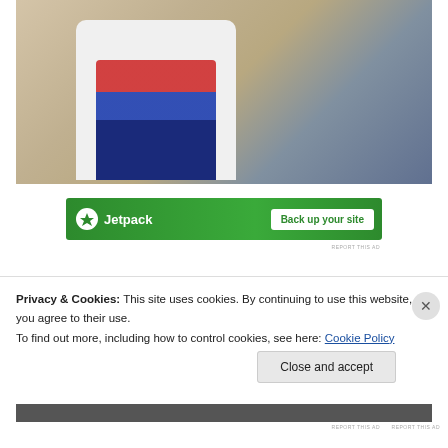[Figure (photo): A child wearing a white t-shirt with a Union Jack graphic and blue pants, sitting on a beige/tan surface. An adult's arm is visible reaching toward the child.]
[Figure (other): Jetpack advertisement banner: green background with Jetpack logo on the left and a white 'Back up your site' button on the right.]
REPORT THIS AD
Privacy & Cookies: This site uses cookies. By continuing to use this website, you agree to their use.
To find out more, including how to control cookies, see here: Cookie Policy
Close and accept